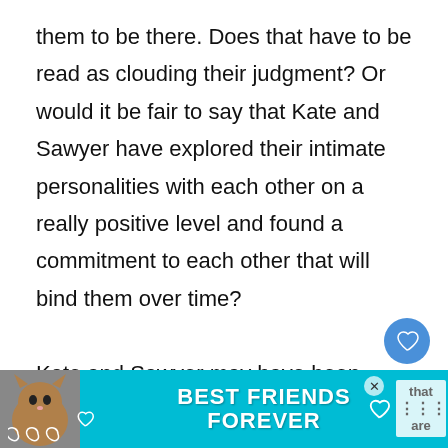them to be there. Does that have to be read as clouding their judgment? Or would it be fair to say that Kate and Sawyer have explored their intimate personalities with each other on a really positive level and found a commitment to each other that will bind them over time?

Kate and Sawyer may have been driven to to know each other because he war kiss her and that led him to challenge and
[Figure (other): Advertisement banner: 'BEST FRIENDS FOREVER' with a cat illustration on a teal background, with a close button and some partially visible text on the right side.]